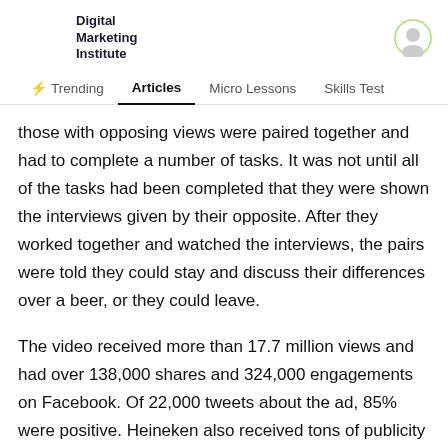Digital Marketing Institute
those with opposing views were paired together and had to complete a number of tasks. It was not until all of the tasks had been completed that they were shown the interviews given by their opposite. After they worked together and watched the interviews, the pairs were told they could stay and discuss their differences over a beer, or they could leave.
The video received more than 17.7 million views and had over 138,000 shares and 324,000 engagements on Facebook. Of 22,000 tweets about the ad, 85% were positive. Heineken also received tons of publicity and